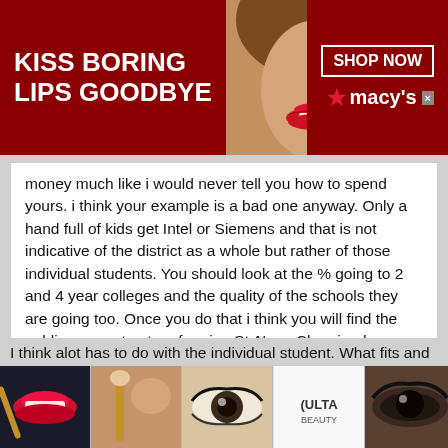[Figure (infographic): Top advertisement banner with dark red background, text 'KISS BORING LIPS GOODBYE' in white bold letters on left, woman's face with red lips in center, 'SHOP NOW' button and Macy's star logo on right]
money much like i would never tell you how to spend yours. i think your example is a bad one anyway. Only a hand full of kids get Intel or Siemens and that is not indicative of the district as a whole but rather of those individual students. You should look at the % going to 2 and 4 year colleges and the quality of the schools they are going too. Once you do that i think you will find the publics are not out performing St A's or Chaminade.
I think alot has to do with the individual student. What fits and doesnt fit. My son gets all A's or better in a very competitive academic school district and we discussed the Catholic school route for academics and sports. As per his choice he didnt feel it
[Figure (infographic): Bottom advertisement banner with makeup-themed images: red lips, makeup brush, eye with mascara, Ulta Beauty logo, dramatic eye, and SHOP NOW text on right]